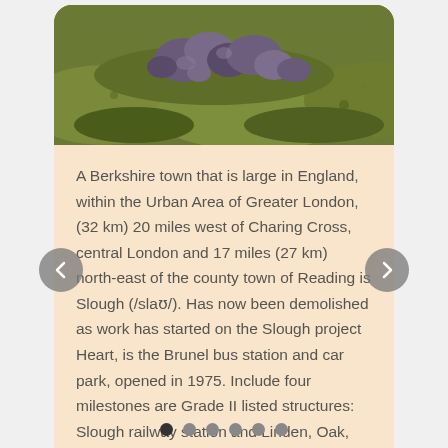[Figure (photo): Aerial/close-up photo of rocky moorland terrain with green grass and purple/dark rocks]
A Berkshire town that is large in England, within the Urban Area of Greater London, (32 km) 20 miles west of Charing Cross, central London and 17 miles (27 km) north-east of the county town of Reading is Slough (/slaʊ/). Has now been demolished as work has started on the Slough project Heart, is the Brunel bus station and car park, opened in 1975. Include four milestones are Grade II listed structures: Slough railway station and Linden, Oak, and Beech Houses at Upton Hospital.
Visit Website